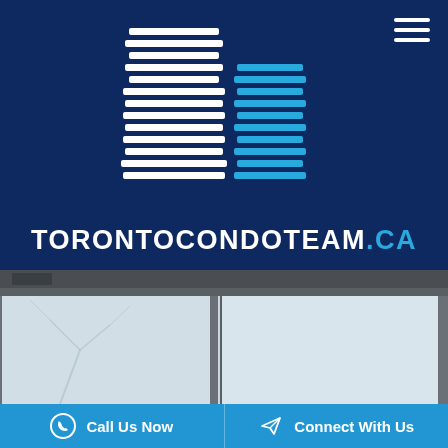[Figure (logo): Toronto Condo Team logo: two stylized building silhouettes made of white and blue horizontal bars on dark navy background, with text TORONTOCONDOTEAM.CA below]
[Figure (photo): Close-up photo of glass windows/balcony of a condominium building with winter tree reflections visible]
Call Us Now
Connect With Us